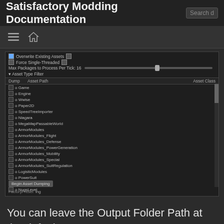Satisfactory Modding Documentation
[Figure (screenshot): Screenshot of a game modding tool UI showing asset dump settings with checkboxes for 'Overwrite Existing Assets', 'Force Single-Threaded', a slider for 'Max Packages to Process Per Tick: 16', an Asset Type Filter section with a table listing asset paths including Game, Engine, Wwise, Paper2D, SpeedTreeImporter, Niagara, MegaMapPassableWorld, ArmorModules, ArmorModules_Flight, ArmorModules_Defense, ArmorModules_PowerGeneration, ArmorModules_Mobility, ArmorModules_Special, ArmorModules_SuitRegulation, LogisticModules, PowerSuit, MAMTree, NugsLevel, SML, UtilityMod, GeometryMode, LensDistortion, PythonScriptPlugin, EditorTests, RuntimeTests, CSSEditorToolsExtension, and a 'Begin Asset Dumping' button.]
You can leave the Output Folder Path at the default to